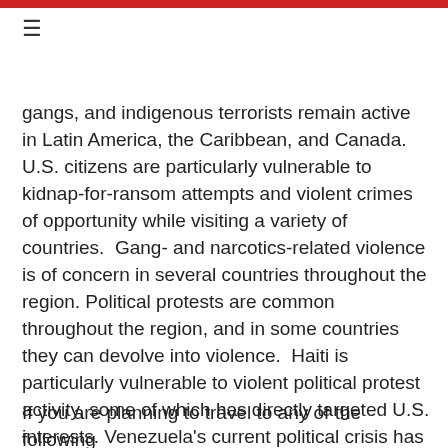≡
gangs, and indigenous terrorists remain active in Latin America, the Caribbean, and Canada.  U.S. citizens are particularly vulnerable to kidnap-for-ransom attempts and violent crimes of opportunity while visiting a variety of countries.  Gang- and narcotics-related violence is of concern in several countries throughout the region. Political protests are common throughout the region, and in some countries they can devolve into violence.  Haiti is particularly vulnerable to violent political protest activity, some of which has directly targeted U.S. interests. Venezuela's current political crisis has turned violent on numerous occasions in 2017, including near-daily protests between April and August that have cost more than 100 people their lives.
If you are planning to travel to any of the following